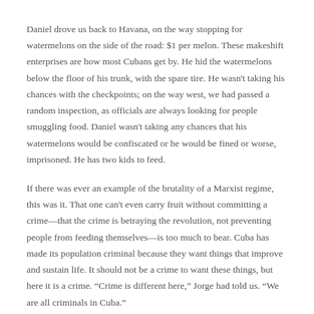Daniel drove us back to Havana, on the way stopping for watermelons on the side of the road: $1 per melon. These makeshift enterprises are how most Cubans get by. He hid the watermelons below the floor of his trunk, with the spare tire. He wasn't taking his chances with the checkpoints; on the way west, we had passed a random inspection, as officials are always looking for people smuggling food. Daniel wasn't taking any chances that his watermelons would be confiscated or he would be fined or worse, imprisoned. He has two kids to feed.
If there was ever an example of the brutality of a Marxist regime, this was it. That one can't even carry fruit without committing a crime—that the crime is betraying the revolution, not preventing people from feeding themselves—is too much to bear. Cuba has made its population criminal because they want things that improve and sustain life. It should not be a crime to want these things, but here it is a crime. “Crime is different here,” Jorge had told us. “We are all criminals in Cuba.”
* * *